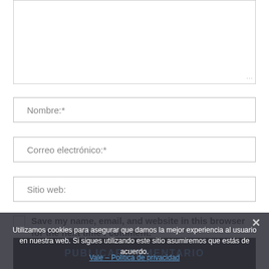[Figure (screenshot): Textarea input box (comment field), empty, with resize handle at bottom-right]
Nombre:*
Correo electrónico:*
Sitio web:
Save my name, email, and website in this browser for the next time I comment.
PUBLICAR COMENTARIO
Utilizamos cookies para asegurar que damos la mejor experiencia al usuario en nuestra web. Si sigues utilizando este sitio asumiremos que estás de acuerdo.
Vale – Política de privacidad